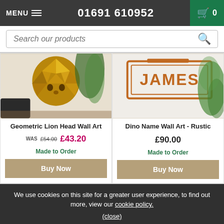MENU | 01691 610952 | Cart 0
Search our products
[Figure (photo): Geometric golden lion head wall art sculpture]
Geometric Lion Head Wall Art
WAS £54.00  £43.20
Made to Order
Buy Now
[Figure (photo): Rustic orange JAMES name wall art sign]
Dino Name Wall Art - Rustic
£90.00
Made to Order
Buy Now
We use cookies on this site for a greater user experience, to find out more, view our cookie policy.
(close)